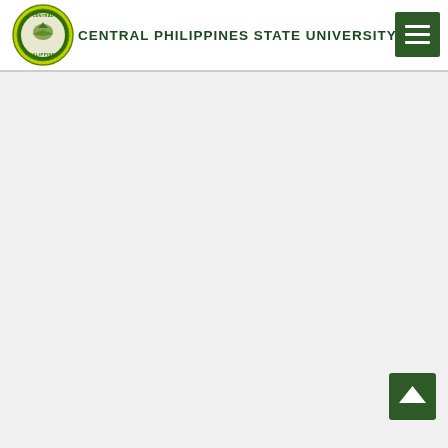CENTRAL PHILIPPINES STATE UNIVERSITY
[Figure (logo): Central Philippines State University circular seal/logo with yellow-green border and eagle emblem]
[Figure (other): Hamburger menu button (three horizontal white lines on dark green square background) in top right corner]
[Figure (other): Back to top button (upward chevron arrow on dark green square background) in bottom right corner]